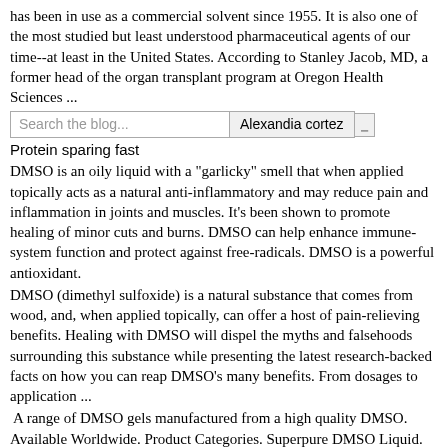has been in use as a commercial solvent since 1955. It is also one of the most studied but least understood pharmaceutical agents of our time--at least in the United States. According to Stanley Jacob, MD, a former head of the organ transplant program at Oregon Health Sciences ...
[Figure (screenshot): Search bar with text 'Search the blog...' and button 'Alexandia cortez' followed by a small rectangle icon]
Protein sparing fast
DMSO is an oily liquid with a "garlicky" smell that when applied topically acts as a natural anti-inflammatory and may reduce pain and inflammation in joints and muscles. It's been shown to promote healing of minor cuts and burns. DMSO can help enhance immune-system function and protect against free-radicals. DMSO is a powerful antioxidant.
DMSO (dimethyl sulfoxide) is a natural substance that comes from wood, and, when applied topically, can offer a host of pain-relieving benefits. Healing with DMSO will dispel the myths and falsehoods surrounding this substance while presenting the latest research-backed facts on how you can reap DMSO's many benefits. From dosages to application ...
A range of DMSO gels manufactured from a high quality DMSO. Available Worldwide. Product Categories. Superpure DMSO Liquid. DMSO Gels. DMSO Ready to use liquid & sprays. MSM ( methylsulfonylmethane ) Iodine. Activated charcoal. Pure sulphur. DMSO GEL 70% £18.80. Learn more. DMSO GEL 70% WITH ALOE VERA £24.95. Learn more. DMSO GEL 90% £19.80 DMSO Single Bottle (500ml) $ 58.05. DMSO All are the